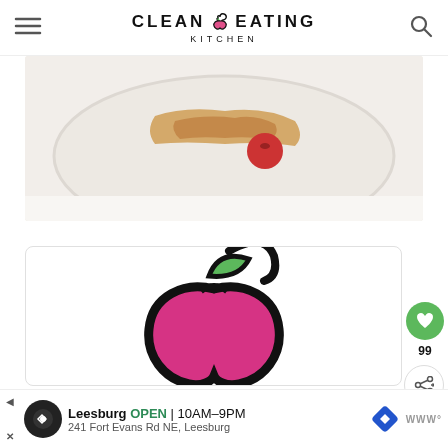CLEAN EATING KITCHEN
[Figure (photo): Food photo showing a plate with what appears to be crepes or wraps with a red fruit/tomato, on a white plate against a light background]
[Figure (logo): Clean Eating Kitchen logo: a pink heart-shaped apple with green leaf and black outline, large centered on white card]
99
[Figure (infographic): Advertisement banner: Leesburg OPEN 10AM-9PM, 241 Fort Evans Rd NE, Leesburg]